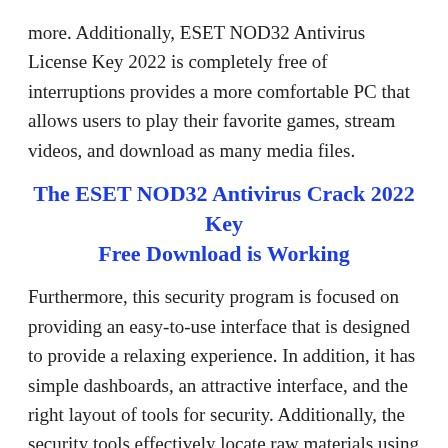more. Additionally, ESET NOD32 Antivirus License Key 2022 is completely free of interruptions provides a more comfortable PC that allows users to play their favorite games, stream videos, and download as many media files.
The ESET NOD32 Antivirus Crack 2022 Key Free Download is Working
Furthermore, this security program is focused on providing an easy-to-use interface that is designed to provide a relaxing experience. In addition, it has simple dashboards, an attractive interface, and the right layout of tools for security. Additionally, the security tools effectively locate raw materials using the